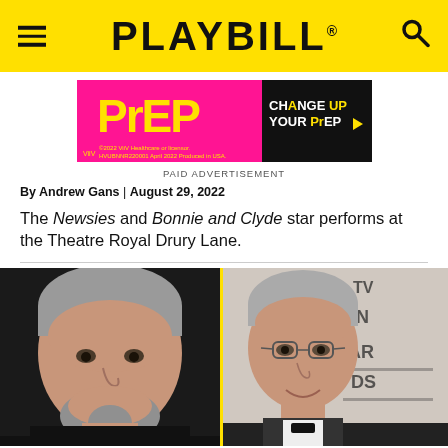PLAYBILL
[Figure (photo): Playbill advertisement for PrEP medication - pink and black banner with 'PrEP' logo and 'CHANGE UP YOUR PrEP' text. ViiV Healthcare branding. HVUBNNR220001 April 2022 Produced in USA.]
PAID ADVERTISEMENT
By Andrew Gans | August 29, 2022
The Newsies and Bonnie and Clyde star performs at the Theatre Royal Drury Lane.
[Figure (photo): Two side-by-side headshots: left photo shows an older man with grey hair and beard smiling, on dark background; right photo shows an older man with glasses and grey hair smiling, photographed at what appears to be a TV awards event.]